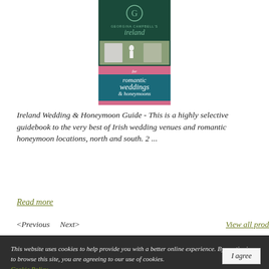[Figure (illustration): Book cover of Georgina Campbell's Ireland guide for romantic weddings and honeymoons. Dark green cover with a G logo at top, a wedding photo in the middle, and pink/teal text reading 'for romantic weddings & honeymoons'.]
Ireland Wedding & Honeymoon Guide - This is a highly selective guidebook to the very best of Irish wedding venues and romantic honeymoon locations, north and south. 2 ...
Read more
<Previous   Next>   View all prod
This website uses cookies to help provide you with a better online experience. By continuing to browse this site, you are agreeing to our use of cookies. Cookie Policy
I agree